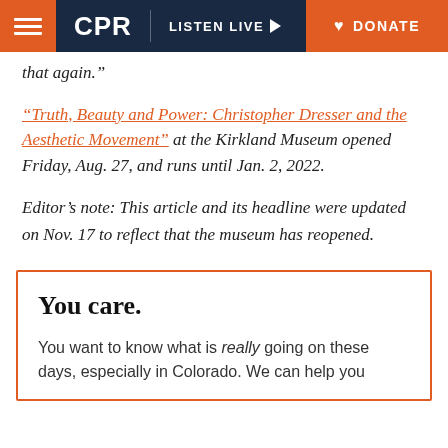CPR | LISTEN LIVE | DONATE
that again.”
“Truth, Beauty and Power: Christopher Dresser and the Aesthetic Movement” at the Kirkland Museum opened Friday, Aug. 27, and runs until Jan. 2, 2022.
Editor’s note: This article and its headline were updated on Nov. 17 to reflect that the museum has reopened.
You care.
You want to know what is really going on these days, especially in Colorado. We can help you